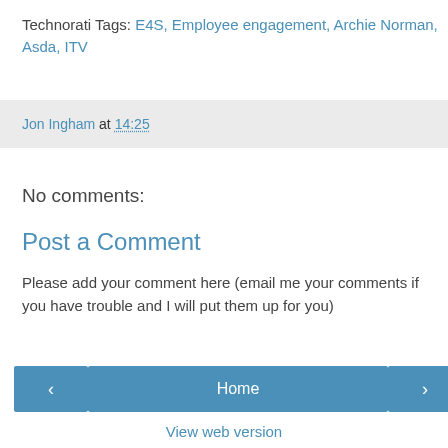Technorati Tags: E4S, Employee engagement, Archie Norman, Asda, ITV
Jon Ingham at 14:25
No comments:
Post a Comment
Please add your comment here (email me your comments if you have trouble and I will put them up for you)
‹   Home   ›
View web version
Powered by Blogger.